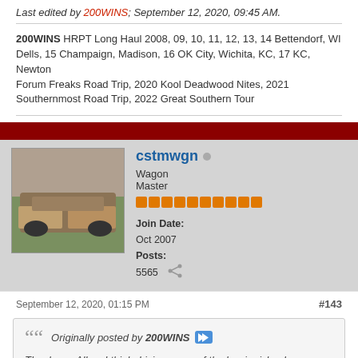Last edited by 200WINS; September 12, 2020, 09:45 AM.
200WINS HRPT Long Haul 2008, 09, 10, 11, 12, 13, 14 Bettendorf, WI Dells, 15 Champaign, Madison, 16 OK City, Wichita, KC, 17 KC, Newton
Forum Freaks Road Trip, 2020 Kool Deadwood Nites, 2021 Southernmost Road Trip, 2022 Great Southern Tour
cstmwgn  Wagon Master
Join Date: Oct 2007
Posts: 5565
September 12, 2020, 01:15 PM
#143
Originally posted by 200WINS
Thank you Allen, I think driving some of the barrier islands (pick and choose) would be good. We drove Long Boat Key